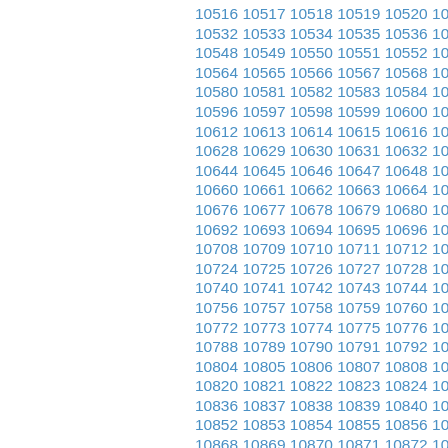10516 10517 10518 10519 10520 10521 10522 10... 10532 10533 10534 10535 10536 10537 10538 10... 10548 10549 10550 10551 10552 10553 10554 10... 10564 10565 10566 10567 10568 10569 10570 10... 10580 10581 10582 10583 10584 10585 10586 10... 10596 10597 10598 10599 10600 10601 10602 10... 10612 10613 10614 10615 10616 10617 10618 10... 10628 10629 10630 10631 10632 10633 10634 10... 10644 10645 10646 10647 10648 10649 10650 10... 10660 10661 10662 10663 10664 10665 10666 10... 10676 10677 10678 10679 10680 10681 10682 10... 10692 10693 10694 10695 10696 10697 10698 10... 10708 10709 10710 10711 10712 10713 10714 10... 10724 10725 10726 10727 10728 10729 10730 10... 10740 10741 10742 10743 10744 10745 10746 10... 10756 10757 10758 10759 10760 10761 10762 10... 10772 10773 10774 10775 10776 10777 10778 10... 10788 10789 10790 10791 10792 10793 10794 10... 10804 10805 10806 10807 10808 10809 10810 10... 10820 10821 10822 10823 10824 10825 10826 10... 10836 10837 10838 10839 10840 10841 10842 10... 10852 10853 10854 10855 10856 10857 10858 10... 10868 10869 10870 10871 10872 10873 10874 10... 10884 10885 10886 10887 10888 10889 10890 10...